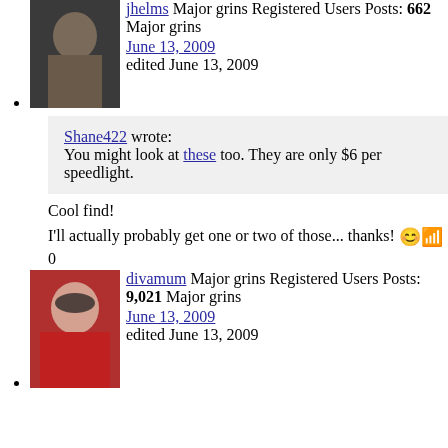jhelms Major grins Registered Users Posts: 662 Major grins June 13, 2009 edited June 13, 2009
Shane422 wrote: You might look at these too. They are only $6 per speedlight.
Cool find!
I'll actually probably get one or two of those... thanks! 0
divamum Major grins Registered Users Posts: 9,021 Major grins June 13, 2009 edited June 13, 2009